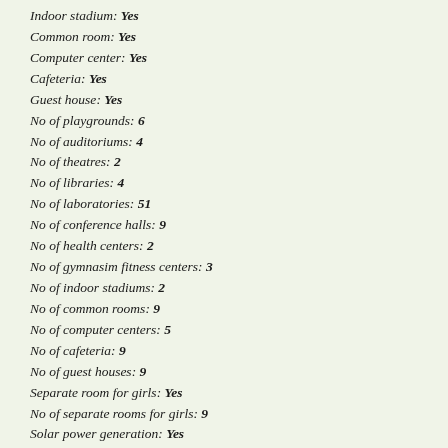Indoor stadium: Yes
Common room: Yes
Computer center: Yes
Cafeteria: Yes
Guest house: Yes
No of playgrounds: 6
No of auditoriums: 4
No of theatres: 2
No of libraries: 4
No of laboratories: 51
No of conference halls: 9
No of health centers: 2
No of gymnasim fitness centers: 3
No of indoor stadiums: 2
No of common rooms: 9
No of computer centers: 5
No of cafeteria: 9
No of guest houses: 9
Separate room for girls: Yes
No of separate rooms for girls: 9
Solar power generation: Yes
Connectivity nkn: Yes
Connectivity nmeict: No
No of books: 239240
No of journals: 519